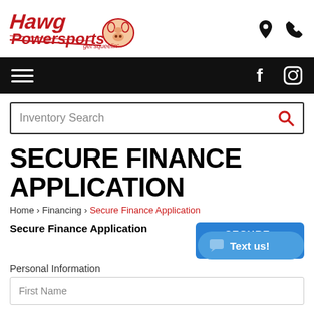[Figure (logo): Hawg Powersports logo with red stylized text and cartoon pig mascot, tagline 'get squeelin']
Hawg Powersports website header with navigation bar containing hamburger menu, Facebook and Instagram icons
Inventory Search
SECURE FINANCE APPLICATION
Home › Financing › Secure Finance Application
Secure Finance Application
Personal Information
First Name
[Figure (infographic): Secure Data Transfer badge - blue rectangle with lock icon and text 'SECURE Data Transfer']
[Figure (infographic): Blue rounded 'Text us!' chat button with speech bubble icon]